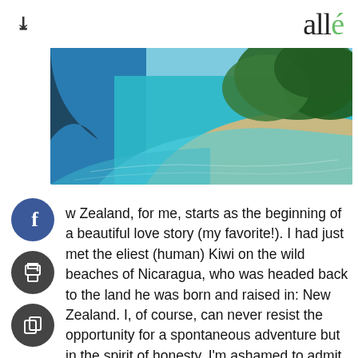allé
[Figure (photo): Aerial view of a coastal beach with turquoise water meeting sandy shores and green trees/vegetation]
w Zealand, for me, starts as the beginning of a beautiful love story (my favorite!). I had just met the eliest (human) Kiwi on the wild beaches of Nicaragua, who was headed back to the land he was born and raised in: New Zealand. I, of course, can never resist the opportunity for a spontaneous adventure but in the spirit of honesty, I'm ashamed to admit I had no idea that New Zealand was even split into two islands not too long ago. To say it wasn't quite on my radar, or map (literally, fun fact: New Zealand is often left off of world maps) is an